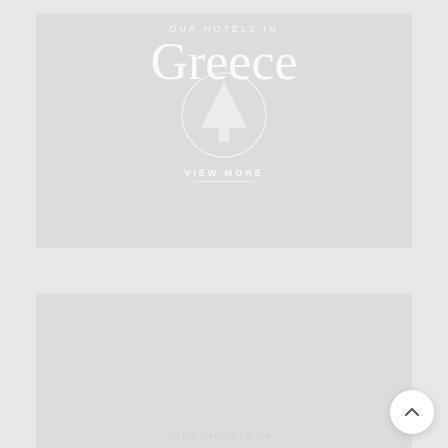[Figure (illustration): Hotel card for Greece featuring text 'OUR HOTELS IN' at top, large 'Greece' text overlapping a circular icon with a tree/mountain symbol, and 'VIEW MORE' link below, all in white on a light gray background]
OUR HOTELS IN
Greece
VIEW MORE
[Figure (illustration): Second hotel card, partially visible at bottom of page, light gray background with faint 'OUR HOTELS IN' text at bottom]
OUR HOTELS IN